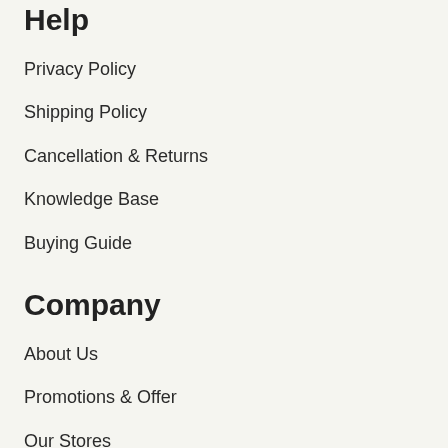Help
Privacy Policy
Shipping Policy
Cancellation & Returns
Knowledge Base
Buying Guide
Company
About Us
Promotions & Offer
Our Stores
Terms and Conditions
Contact Us
Contact Us